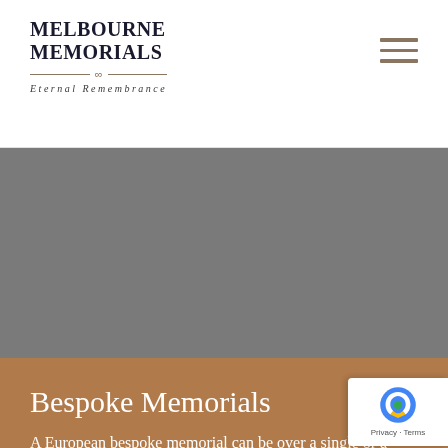MELBOURNE MEMORIALS — Eternal Remembrance
[Figure (photo): Gray background hero image area (image content not visible)]
Bespoke Memorials
A European bespoke memorial can be over a single or a double plot. This type of memorial offers a more unique approach to honouring an individual